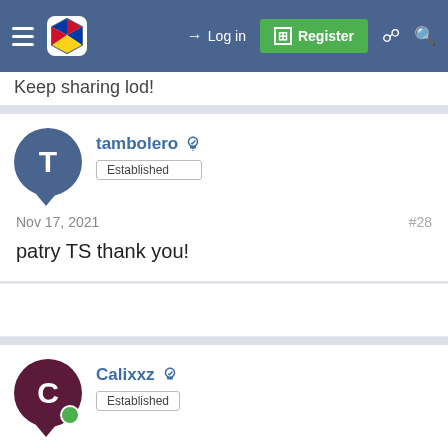Log in | Register
Keep sharing lod!
tambolero — Established
Nov 17, 2021  #28
patry TS thank you!
Calixxz — Established
Nov 17, 2021  #29
nega lods pero ty